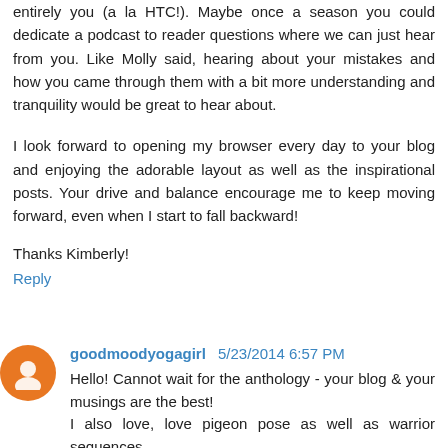entirely you (a la HTC!). Maybe once a season you could dedicate a podcast to reader questions where we can just hear from you. Like Molly said, hearing about your mistakes and how you came through them with a bit more understanding and tranquility would be great to hear about.
I look forward to opening my browser every day to your blog and enjoying the adorable layout as well as the inspirational posts. Your drive and balance encourage me to keep moving forward, even when I start to fall backward!
Thanks Kimberly!
Reply
goodmoodyogagirl 5/23/2014 6:57 PM
Hello! Cannot wait for the anthology - your blog & your musings are the best!
I also love, love pigeon pose as well as warrior sequences.
Your posts & pics of books are my fav. Telling us what books you are reading, what you gain from them & showing